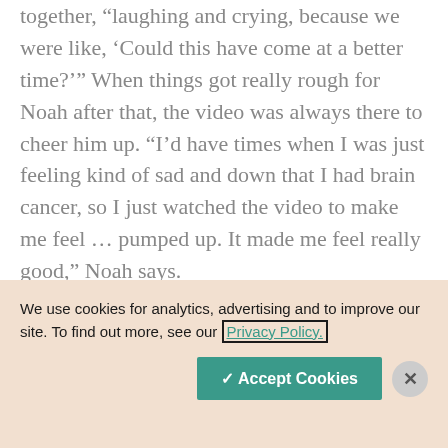together, “laughing and crying, because we were like, ‘Could this have come at a better time?’” When things got really rough for Noah after that, the video was always there to cheer him up. “I’d have times when I was just feeling kind of sad and down that I had brain cancer, so I just watched the video to make me feel … pumped up. It made me feel really good,” Noah says.
A Dream Realized
We use cookies for analytics, advertising and to improve our site. To find out more, see our Privacy Policy.